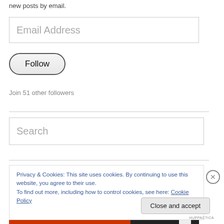new posts by email.
[Figure (other): Email Address input field]
[Figure (other): Follow button with rounded border]
Join 51 other followers
[Figure (other): Search input field]
Privacy & Cookies: This site uses cookies. By continuing to use this website, you agree to their use.
To find out more, including how to control cookies, see here: Cookie Policy
[Figure (other): Close and accept button]
HUPPACTICA